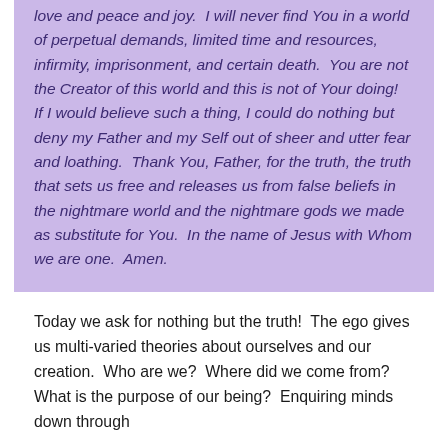love and peace and joy. I will never find You in a world of perpetual demands, limited time and resources, infirmity, imprisonment, and certain death. You are not the Creator of this world and this is not of Your doing! If I would believe such a thing, I could do nothing but deny my Father and my Self out of sheer and utter fear and loathing. Thank You, Father, for the truth, the truth that sets us free and releases us from false beliefs in the nightmare world and the nightmare gods we made as substitute for You. In the name of Jesus with Whom we are one. Amen.
Today we ask for nothing but the truth! The ego gives us multi-varied theories about ourselves and our creation. Who are we? Where did we come from? What is the purpose of our being? Enquiring minds down through